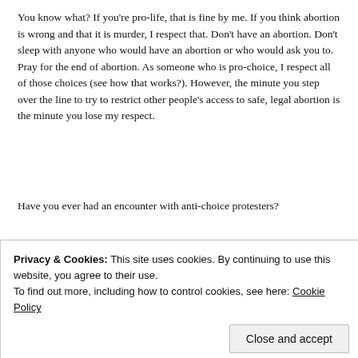You know what? If you're pro-life, that is fine by me. If you think abortion is wrong and that it is murder, I respect that. Don't have an abortion. Don't sleep with anyone who would have an abortion or who would ask you to. Pray for the end of abortion. As someone who is pro-choice, I respect all of those choices (see how that works?). However, the minute you step over the line to try to restrict other people's access to safe, legal abortion is the minute you lose my respect.
Have you ever had an encounter with anti-choice protesters?
[Figure (other): Advertisement box with beige/cream background and partial bold text visible]
Privacy & Cookies: This site uses cookies. By continuing to use this website, you agree to their use.
To find out more, including how to control cookies, see here: Cookie Policy
Close and accept